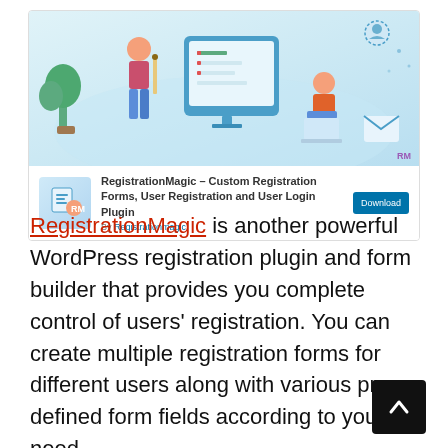[Figure (screenshot): WordPress plugin card for RegistrationMagic showing a banner illustration with people and a form on a computer screen, plugin title, Download button, and 'By Registrationmagic' byline.]
RegistrationMagic is another powerful WordPress registration plugin and form builder that provides you complete control of users' registration. You can create multiple registration forms for different users along with various pre-defined form fields according to your need.